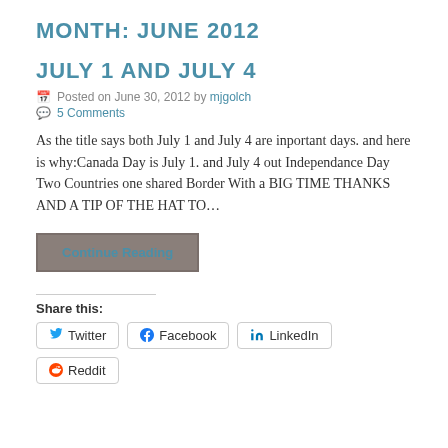MONTH: JUNE 2012
JULY 1 AND JULY 4
Posted on June 30, 2012 by mjgolch
5 Comments
As the title says both July 1 and July 4 are inportant days. and here is why:Canada Day is July 1. and July 4 out Independance Day Two Countries one shared Border With a BIG TIME THANKS AND A TIP OF THE HAT TO…
Continue Reading
Share this:
Twitter  Facebook  LinkedIn  Reddit